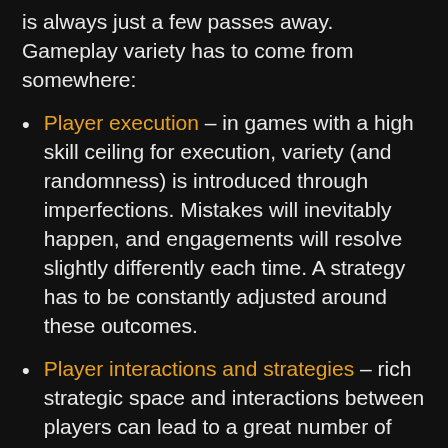is always just a few passes away. Gameplay variety has to come from somewhere:
Player execution – in games with a high skill ceiling for execution, variety (and randomness) is introduced through imperfections. Mistakes will inevitably happen, and engagements will resolve slightly differently each time. A strategy has to be constantly adjusted around these outcomes.
Player interactions and strategies – rich strategic space and interactions between players can lead to a great number of distinct game states. Players can't be familiar with all of them – leading to each game feeling more unique. This will amplify any differences between games